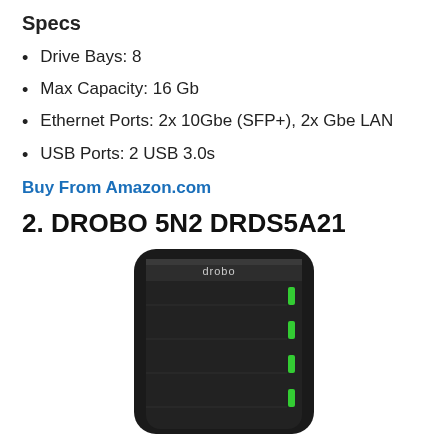Specs
Drive Bays: 8
Max Capacity: 16 Gb
Ethernet Ports: 2x 10Gbe (SFP+), 2x Gbe LAN
USB Ports: 2 USB 3.0s
Buy From Amazon.com
2. DROBO 5N2 DRDS5A21
[Figure (photo): Photo of Drobo 5N2 DRDS5A21 device — a black NAS enclosure with rounded top corners, showing the 'drobo' logo at the top and green LED indicators on the right side]